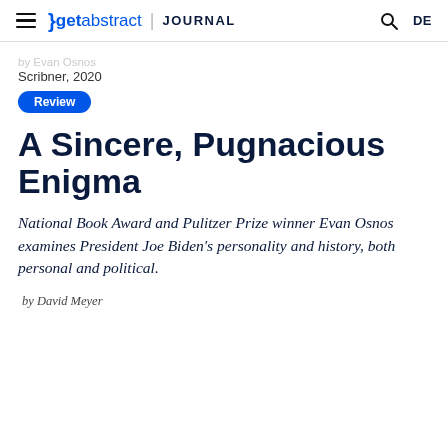getabstract | JOURNAL  DE
by Evan Osnos
Scribner, 2020
Review
A Sincere, Pugnacious Enigma
National Book Award and Pulitzer Prize winner Evan Osnos examines President Joe Biden's personality and history, both personal and political.
by David Meyer